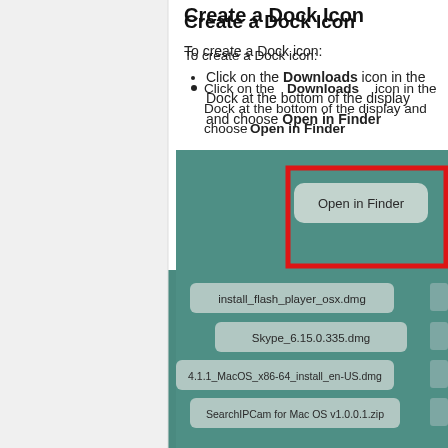Create a Dock Icon
To create a Dock icon:
Click on the Downloads icon in the Dock at the bottom of the display and choose Open in Finder
[Figure (screenshot): macOS Dock Downloads popup showing 'Open in Finder' option highlighted with a red rectangle, with files listed: install_flash_player_osx.dmg, Skype_6.15.0.335.dmg, 4.1.1_MacOS_x86-64_install_en-US.dmg, SearchIPCam for Mac OS v1.0.0.1.zip]